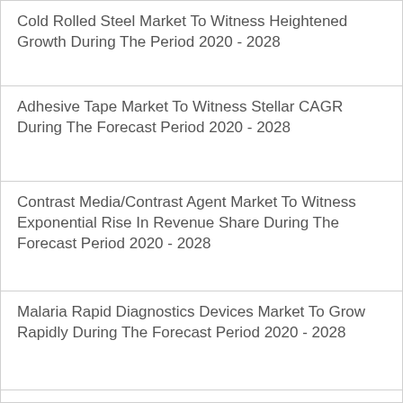Cold Rolled Steel Market To Witness Heightened Growth During The Period 2020 - 2028
Adhesive Tape Market To Witness Stellar CAGR During The Forecast Period 2020 - 2028
Contrast Media/Contrast Agent Market To Witness Exponential Rise In Revenue Share During The Forecast Period 2020 - 2028
Malaria Rapid Diagnostics Devices Market To Grow Rapidly During The Forecast Period 2020 - 2028
Hyper Automation Market To Exhibit Significant Opportunity Assessment During